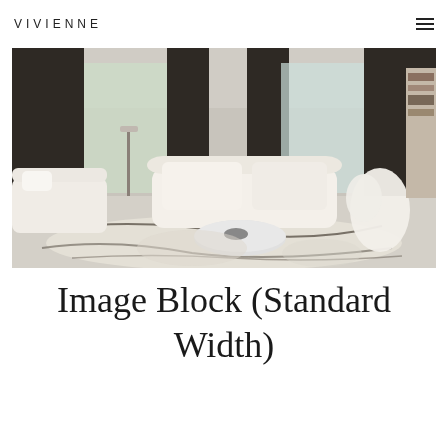VIVIENNE
[Figure (photo): Interior living room photo showing white sofas, dark curtains, a round white coffee table, a patterned rug, and a white dog on the right side]
Image Block (Standard Width)